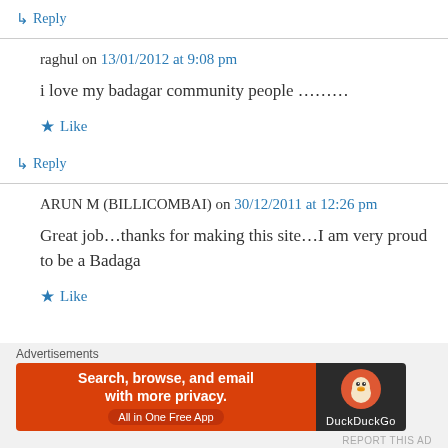↳ Reply
raghul on 13/01/2012 at 9:08 pm
i love my badagar community people ………
★ Like
↳ Reply
ARUN M (BILLICOMBAI) on 30/12/2011 at 12:26 pm
Great job…thanks for making this site…I am very proud to be a Badaga
★ Like
Advertisements
[Figure (screenshot): DuckDuckGo advertisement banner: orange left panel with 'Search, browse, and email with more privacy. All in One Free App' text, dark right panel with DuckDuckGo duck logo and DuckDuckGo label]